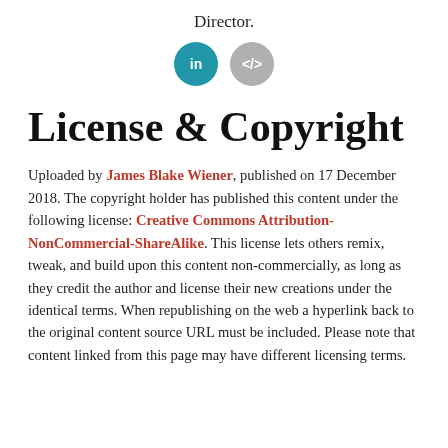Director.
[Figure (illustration): Two circular social media/profile icon buttons: a teal LinkedIn 'in' icon and a grey code '</>' icon]
License & Copyright
Uploaded by James Blake Wiener, published on 17 December 2018. The copyright holder has published this content under the following license: Creative Commons Attribution-NonCommercial-ShareAlike. This license lets others remix, tweak, and build upon this content non-commercially, as long as they credit the author and license their new creations under the identical terms. When republishing on the web a hyperlink back to the original content source URL must be included. Please note that content linked from this page may have different licensing terms.